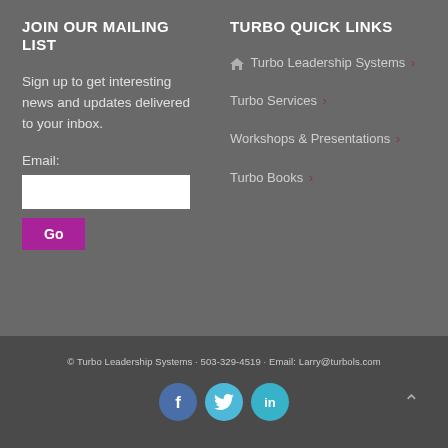JOIN OUR MAILING LIST
Sign up to get interesting news and updates delivered to your inbox.
Email:
TURBO QUICK LINKS
Turbo Leadership Systems ›
Turbo Services ›
Workshops & Presentations ›
Turbo Books ›
© Turbo Leadership Systems · 503-329-4519 · Email: Larry@turbols.com